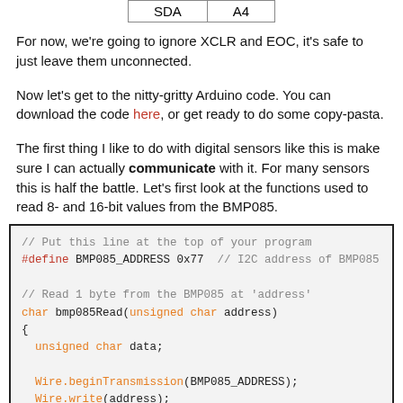| SDA | A4 |
| --- | --- |
For now, we're going to ignore XCLR and EOC, it's safe to just leave them unconnected.
Now let's get to the nitty-gritty Arduino code. You can download the code here, or get ready to do some copy-pasta.
The first thing I like to do with digital sensors like this is make sure I can actually communicate with it. For many sensors this is half the battle. Let's first look at the functions used to read 8- and 16-bit values from the BMP085.
[Figure (screenshot): Code block showing Arduino C code: #define BMP085_ADDRESS 0x77, bmp085Read function definition with Wire.beginTransmission, Wire.write, Wire.endTransmission, Wire.requestFrom calls]